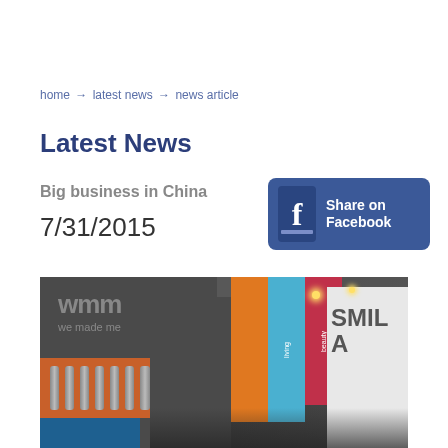home → latest news → news article
Latest News
Big business in China
7/31/2015
[Figure (infographic): Share on Facebook button with Facebook logo icon]
[Figure (photo): Photo of a trade show booth for 'wmm we made me' brand with product cans on display, colorful banners, and attendees in the foreground]